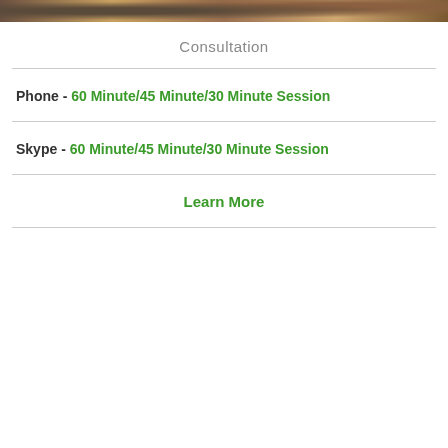[Figure (photo): Photo of people in a consultation or educational setting, cropped at top of page]
Consultation
Phone - 60 Minute/45 Minute/30 Minute Session
Skype - 60 Minute/45 Minute/30 Minute Session
Learn More